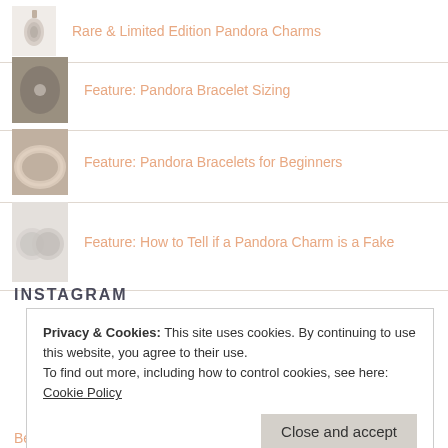Rare & Limited Edition Pandora Charms
Feature: Pandora Bracelet Sizing
Feature: Pandora Bracelets for Beginners
Feature: How to Tell if a Pandora Charm is a Fake
INSTAGRAM
Privacy & Cookies: This site uses cookies. By continuing to use this website, you agree to their use.
To find out more, including how to control cookies, see here: Cookie Policy
Close and accept
Beads on a Budget